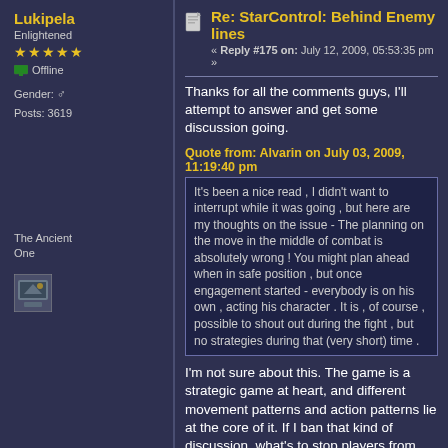Lukipela
Enlightened
★★★★★
Offline
Gender: ♂
Posts: 3619
The Ancient One
Re: StarControl: Behind Enemy lines
« Reply #175 on: July 12, 2009, 05:53:35 pm »
Thanks for all the comments guys, I'll attempt to answer and get some discussion going.
Quote from: Alvarin on July 03, 2009, 11:19:40 pm
It's been a nice read , I didn't want to interrupt while it was going , but here are my thoughts on the issue - The planning on the move in the middle of combat is absolutely wrong ! You might plan ahead when in safe position , but once engagement started - everybody is on his own , acting his character . It is , of course , possible to shout out during the fight , but no strategies during that (very short) time .
I'm not sure about this. The game is a strategic game at heart, and different movement patterns and action patterns lie at the core of it. If I ban that kind of discussion, what's to stop players from doing it in PM's or email anyhow? If they do it in the thread, at least I can answer and clarify things.
Quote
Another thing was the artefacts - detailed function description is wrong - if the party wants to find out what it does - they have to experiment (and risk taking damage) .
I've worked from the assumption that once the players get their hands on something , they will be able to figure out how it works. I suppose this would add to the realism, but wouldn't it basically